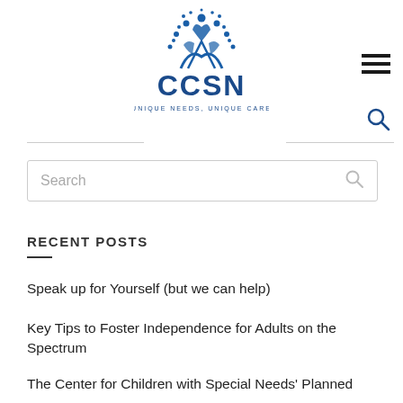[Figure (logo): CCSN logo with stylized blue figures and dots above the letters CCSN, with tagline UNIQUE NEEDS, UNIQUE CARE]
[Figure (other): Hamburger menu icon (three horizontal lines)]
[Figure (other): Search magnifying glass icon]
Search
RECENT POSTS
Speak up for Yourself (but we can help)
Key Tips to Foster Independence for Adults on the Spectrum
The Center for Children with Special Needs' Planned